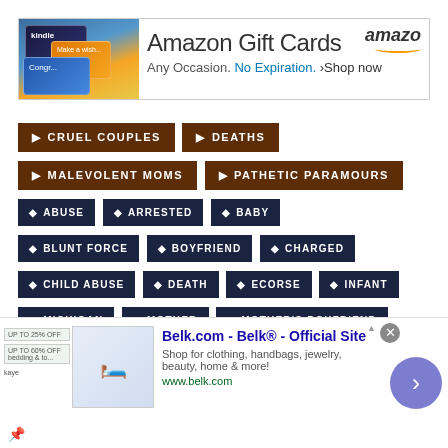[Figure (screenshot): Amazon Gift Cards advertisement banner. Shows gift cards image on left. Text: 'Amazon Gift Cards - Any Occasion. No Expiration. >Shop now' with Amazon logo.]
CRUEL COUPLES
DEATHS
MALEVOLENT MOMS
PATHETIC PARAMOURS
ABUSE
ARRESTED
BABY
BLUNT FORCE
BOYFRIEND
CHARGED
CHILD ABUSE
DEATH
ECORSE
INFANT
MICHIGAN
MOTHER
MOTHER'S BOYFRIEND
[Figure (screenshot): Belk.com advertisement. 'Belk® - Official Site. Shop for clothing, handbags, jewelry, beauty, home & more! www.belk.com']